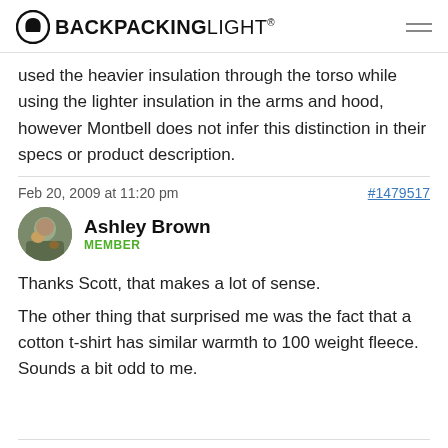BACKPACKINGLIGHT
used the heavier insulation through the torso while using the lighter insulation in the arms and hood, however Montbell does not infer this distinction in their specs or product description.
Feb 20, 2009 at 11:20 pm
#1479517
Ashley Brown
MEMBER
Thanks Scott, that makes a lot of sense.
The other thing that surprised me was the fact that a cotton t-shirt has similar warmth to 100 weight fleece. Sounds a bit odd to me.
Feb 20, 2009 at 11:57 pm
#1479520